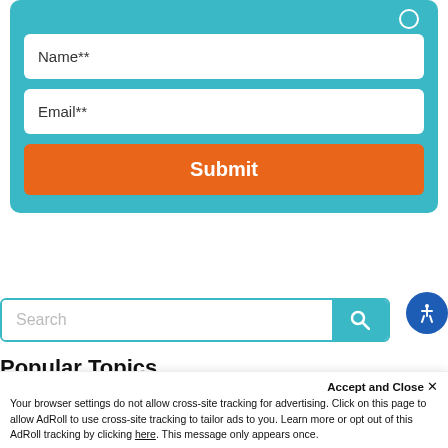[Figure (screenshot): A teal/cyan colored web form panel with two input fields (Name** and Email**) and an orange Submit button, partially cropped at the top showing a small circle icon.]
[Figure (screenshot): A search bar with a white input field labeled 'Search' and a teal search button with magnifying glass icon. A blue circular accessibility icon appears to the right.]
Popular Topics
[Figure (screenshot): A purple/magenta button labeled 'Higher Education Marketing', partially visible at the bottom of the page.]
Accept and Close ×
Your browser settings do not allow cross-site tracking for advertising. Click on this page to allow AdRoll to use cross-site tracking to tailor ads to you. Learn more or opt out of this AdRoll tracking by clicking here. This message only appears once.